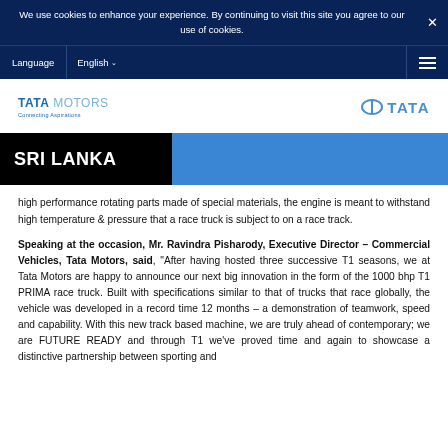We use cookies to enhance your experience. By continuing to visit this site you agree to our use of cookies.
Language   English
[Figure (logo): Tata Motors Connecting Aspirations logo on the left and Tata group logo on the right]
SRI LANKA
high performance rotating parts made of special materials, the engine is meant to withstand high temperature & pressure that a race truck is subject to on a race track.
Speaking at the occasion, Mr. Ravindra Pisharody, Executive Director – Commercial Vehicles, Tata Motors, said, "After having hosted three successive T1 seasons, we at Tata Motors are happy to announce our next big innovation in the form of the 1000 bhp T1 PRIMA race truck. Built with specifications similar to that of trucks that race globally, the vehicle was developed in a record time 12 months – a demonstration of teamwork, speed and capability. With this new track based machine, we are truly ahead of contemporary; we are FUTURE READY and through T1 we've proved time and again to showcase a distinctive partnership between sporting and